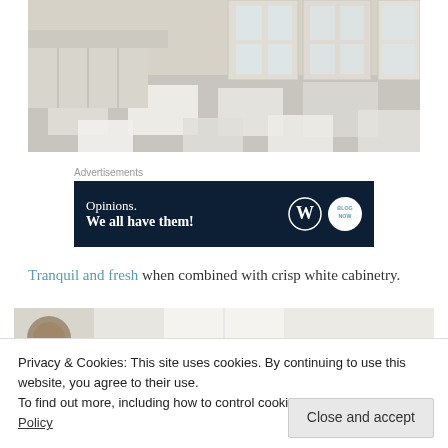[Figure (photo): Interior bathroom or kitchen photo showing marble tile floor with checkered pattern and white/cream cabinetry with paneled doors and glass inserts]
Advertisements
[Figure (other): Advertisement banner with dark navy background reading 'Opinions. We all have them!' with WordPress logo and another circular logo on the right]
Tranquil and fresh when combined with crisp white cabinetry.
[Figure (photo): Partial view of another interior kitchen/dining room photo]
Privacy & Cookies: This site uses cookies. By continuing to use this website, you agree to their use.
To find out more, including how to control cookies, see here: Cookie Policy
Close and accept